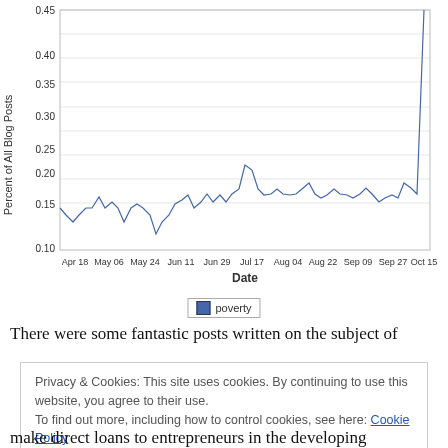[Figure (line-chart): ]
poverty
There were some fantastic posts written on the subject of
Privacy & Cookies: This site uses cookies. By continuing to use this website, you agree to their use.
To find out more, including how to control cookies, see here: Cookie Policy
make direct loans to entrepreneurs in the developing